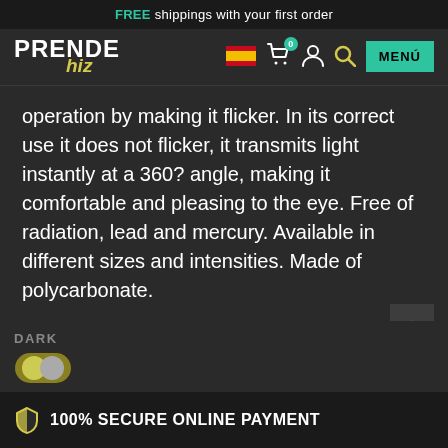FREE shippings with your first order
[Figure (logo): PrendeHuz logo with navigation bar including flag, cart, user, search icons and MENÚ button]
operation by making it flicker. In its correct use it does not flicker, it transmits light instantly at a 360? angle, making it comfortable and pleasing to the eye. Free of radiation, lead and mercury. Available in different sizes and intensities. Made of polycarbonate.
DARK
100% SECURE ONLINE PAYMENT